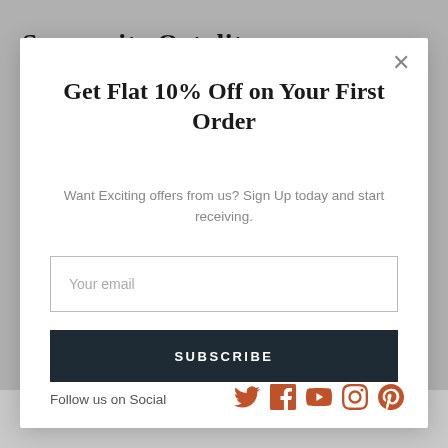Samsonite Octolite
Get Flat 10% Off on Your First Order
Want Exciting offers from us? Sign Up today and start receiving.
Your email
SUBSCRIBE
Follow us on Social
[Figure (illustration): Social media icons: Twitter, Facebook, YouTube, Instagram, Pinterest in terracotta/rust color]